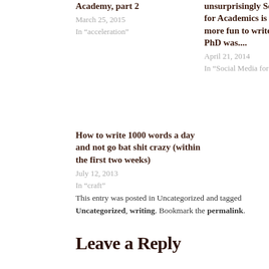Academy, part 2
March 25, 2015
In “acceleration”
unsurprisingly Social Media for Academics is proving much more fun to write than my PhD was....
April 21, 2014
In “Social Media for Academics”
How to write 1000 words a day and not go bat shit crazy (within the first two weeks)
July 12, 2013
In “craft”
This entry was posted in Uncategorized and tagged Uncategorized, writing. Bookmark the permalink.
Leave a Reply